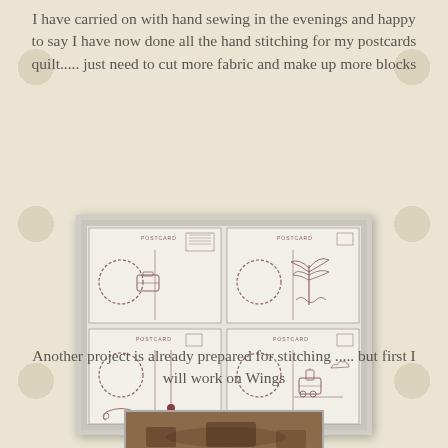I have carried on with hand sewing in the evenings and happy to say I have now done all the hand stitching for my postcards quilt..... just need to cut more fabric and make up more blocks
[Figure (photo): Photo of four hand-stitched postcard quilt blocks arranged in a 2x2 grid, each block showing a postcard design with various embroidered motifs including a suitcase, palm trees, a decorative ornament, and a train, all stitched in red/dark thread on white fabric.]
Another project is already prepared for stitching ..... but first I will work on Wings
[Figure (photo): Partial view of another project at the bottom of the page, showing brown/wooden surface, partly cut off.]